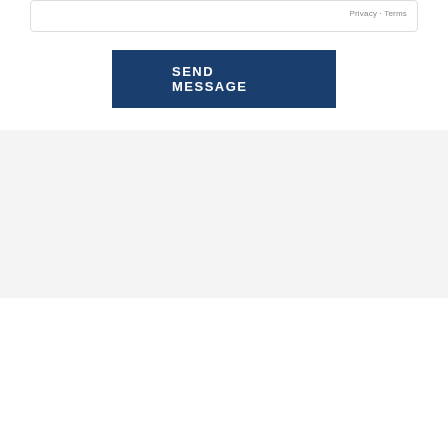Privacy · Terms
SEND MESSAGE
INSIDER TIPS
Subscribe to get the latest insider tips, market updates and access to the hottest deals as they come on the market.